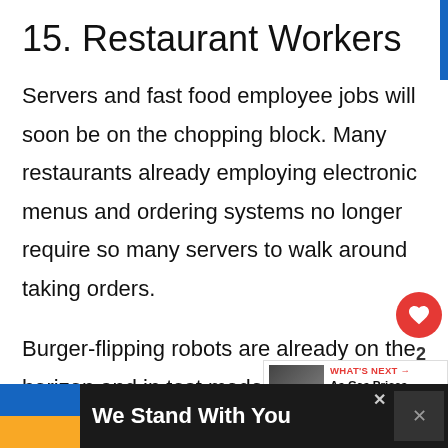15. Restaurant Workers
Servers and fast food employee jobs will soon be on the chopping block. Many restaurants already employing electronic menus and ordering systems no longer require so many servers to walk around taking orders.
Burger-flipping robots are already on the horizon and in test mode. Labor sh... low pay, and the pressure for fast service are fo...
[Figure (infographic): Like button (red circle with heart icon), count of 2, and share button]
[Figure (infographic): What's Next promo box: 'As Gas Prices Skyrocket,...' with thumbnail image]
[Figure (infographic): Bottom ad banner: Ukraine flag colors (blue and yellow), text 'We Stand With You', close X button and logo]